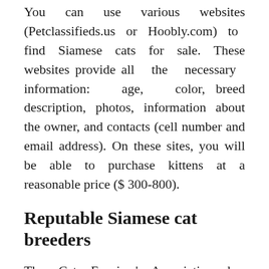You can use various websites (Petclassifieds.us or Hoobly.com) to find Siamese cats for sale. These websites provide all the necessary information: age, color, breed description, photos, information about the owner, and contacts (cell number and email address). On these sites, you will be able to purchase kittens at a reasonable price ($ 300-800).
Reputable Siamese cat breeders
The Cat Fanciers' Association has approved a list of breeders that you can use. Besides, you can use your local search and search for